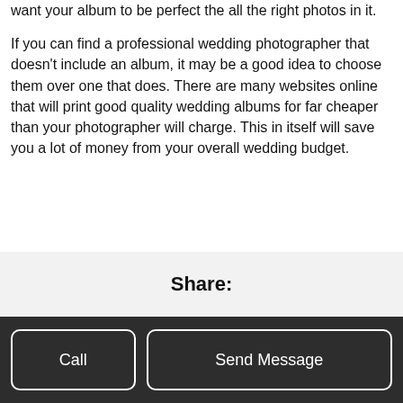want your album to be perfect the all the right photos in it.
If you can find a professional wedding photographer that doesn't include an album, it may be a good idea to choose them over one that does. There are many websites online that will print good quality wedding albums for far cheaper than your photographer will charge. This in itself will save you a lot of money from your overall wedding budget.
Share:
Call
Send Message